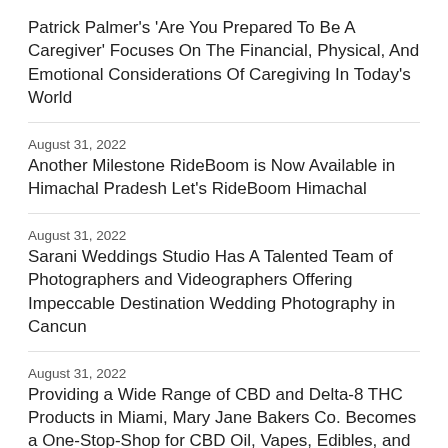Patrick Palmer's 'Are You Prepared To Be A Caregiver' Focuses On The Financial, Physical, And Emotional Considerations Of Caregiving In Today's World
August 31, 2022
Another Milestone RideBoom is Now Available in Himachal Pradesh Let's RideBoom Himachal
August 31, 2022
Sarani Weddings Studio Has A Talented Team of Photographers and Videographers Offering Impeccable Destination Wedding Photography in Cancun
August 31, 2022
Providing a Wide Range of CBD and Delta-8 THC Products in Miami, Mary Jane Bakers Co. Becomes a One-Stop-Shop for CBD Oil, Vapes, Edibles, and Hemp Flowers
August 31, 2022
DLI-IT Group Breaks Ground in the Middle East with Powerful Performance Management Software